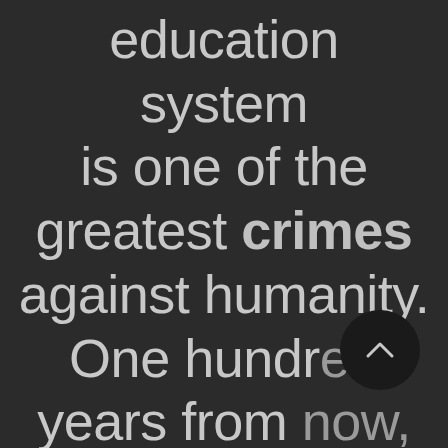education system is one of the greatest crimes against humanity. One hundred years from now,
[Figure (other): A circular dark scroll-up button with an upward-pointing chevron/caret icon, overlaid on the text in the bottom-right area]